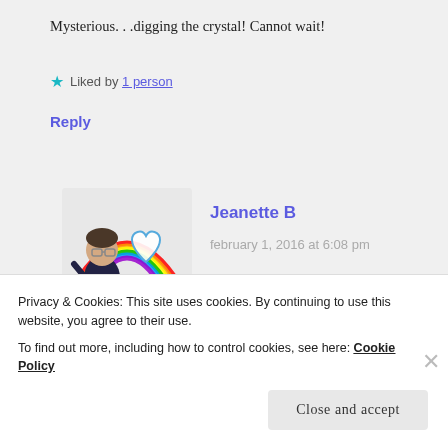Mysterious. . .digging the crystal! Cannot wait!
★ Liked by 1 person
Reply
[Figure (illustration): Avatar image of Jeanette B – cartoon character with rainbow and heart graphic]
Jeanette B
february 1, 2016 at 6:08 pm
Thank you, I'm looking forward to your caging designs.
Privacy & Cookies: This site uses cookies. By continuing to use this website, you agree to their use.
To find out more, including how to control cookies, see here: Cookie Policy
Close and accept